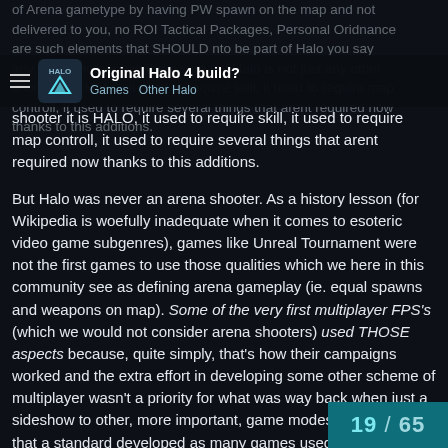of Arena gametype by having PW spawn on the map and not delivered to you, no ROI Tactical Packages, Personal Ordnance are such elements that SHOULD nto be part of Halo you say any other shotoer has them sure but Halo is not just any other shooter it is HALO, it used to require skill, it used to require map controll, it used to require several things that arent required now thanks to this additions.
Original Halo 4 build? Games · Other Halo
But Halo was never an arena shooter. As a history lesson (for Wikipedia is woefully inadequate when it comes to esoteric video game subgenres), games like Unreal Tournament were not the first games to use those qualities which we here in this community see as defining arena gameplay (ie. equal spawns and weapons on map). Some of the very first multiplayer FPS's (which we would not consider arena shooters) used THOSE aspects because, quite simply, that's how their campaigns worked and the extra effort in developing some other scheme of multiplayer wasn't a priority for what was way back when just a sideshow to other, more important, game modes. Thus it was that a standard developed as many games used this convenient format which arena shooters (ex. Unreal) adopted in trying to emphasize multi this setting. However what distinguished tho
19 / 65